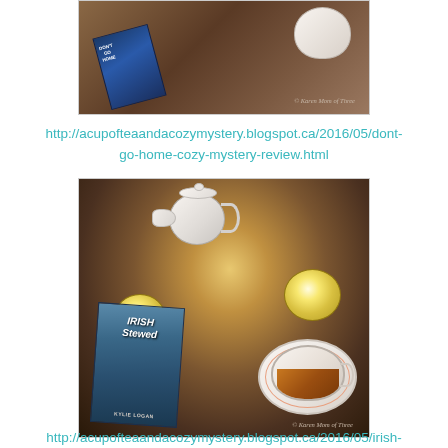[Figure (photo): Photo of 'Don't Go Home' book with a teacup on a wooden surface, with a watermark reading 'Karen Mom of Three']
http://acupofteaandacozymystery.blogspot.ca/2016/05/dont-go-home-cozy-mystery-review.html
[Figure (photo): Photo of 'Irish Stewed' by Kylie Logan book next to a teapot, candles, and a floral teacup with tea on a wooden surface, with a watermark reading 'Karen Mom of Three']
http://acupofteaandacozymystery.blogspot.ca/2016/05/irish-